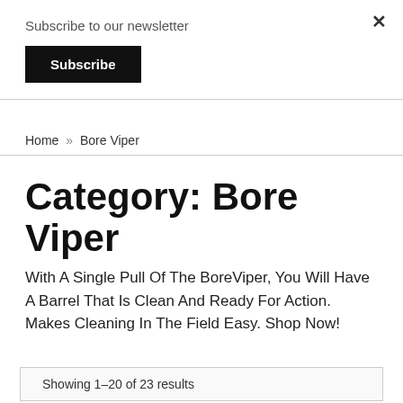Subscribe to our newsletter
Subscribe
×
Home » Bore Viper
Category: Bore Viper
With A Single Pull Of The BoreViper, You Will Have A Barrel That Is Clean And Ready For Action. Makes Cleaning In The Field Easy. Shop Now!
Showing 1–20 of 23 results